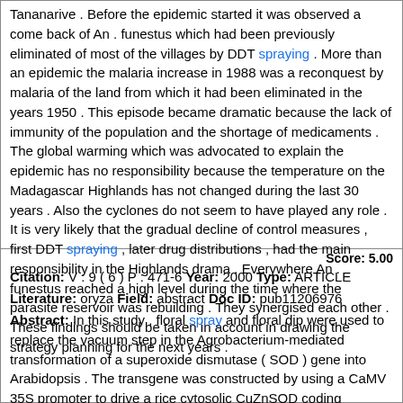Tananarive . Before the epidemic started it was observed a come back of An . funestus which had been previously eliminated of most of the villages by DDT spraying . More than an epidemic the malaria increase in 1988 was a reconquest by malaria of the land from which it had been eliminated in the years 1950 . This episode became dramatic because the lack of immunity of the population and the shortage of medicaments . The global warming which was advocated to explain the epidemic has no responsibility because the temperature on the Madagascar Highlands has not changed during the last 30 years . Also the cyclones do not seem to have played any role . It is very likely that the gradual decline of control measures , first DDT spraying , later drug distributions , had the main responsibility in the Highlands drama . Everywhere An . funestus reached a high level during the time where the parasite reservoir was rebuilding . They synergised each other . These findings should be taken in account in drawing the strategy planning for the next years .
Score: 5.00
Citation: V : 9 ( 6 ) P : 471-6 Year: 2000 Type: ARTICLE
Literature: oryza Field: abstract Doc ID: pub11206976
Abstract: In this study , floral spray and floral dip were used to replace the vacuum step in the Agrobacterium-mediated transformation of a superoxide dismutase ( SOD ) gene into Arabidopsis . The transgene was constructed by using a CaMV 35S promoter to drive a rice cytosolic CuZnSOD coding sequence in Arabidopsis . The transgene construct was developed in binary vectors and mobilized into Agrobacterium . When Arabidopsis plants started to initiate flower buds , the primary inflorescence shoots were removed and then transformed by floral spray or floral dip . More than 300 transgenic plants were generated to assess the feasibility of floral spray used in the in planta transformation . The